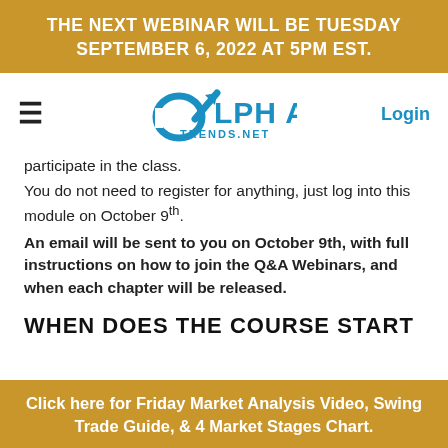THE NEXT WEBINAR WILL BE TUESDAY SEPTEMBER 6, 2022 at 5PM EST.
[Figure (logo): Alpha Trends .NET logo with stylized alpha symbol and upward arrow in blue]
participate in the class.
You do not need to register for anything, just log into this module on October 9th.
An email will be sent to you on October 9th, with full instructions on how to join the Q&A Webinars, and when each chapter will be released.
WHEN DOES THE COURSE START
Click here for Friday Market Analysis Video, Swing Trade Guide, & 4 Market Stages Chart.